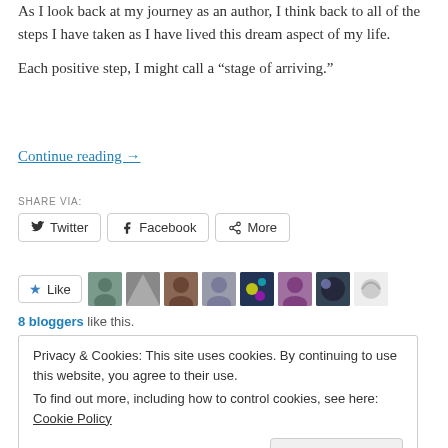As I look back at my journey as an author, I think back to all of the steps I have taken as I have lived this dream aspect of my life.
Each positive step, I might call a “stage of arriving.”
Continue reading →
SHARE VIA:
Twitter   Facebook   More
[Figure (other): Like button with star icon followed by 8 blogger avatars]
8 bloggers like this.
Privacy & Cookies: This site uses cookies. By continuing to use this website, you agree to their use.
To find out more, including how to control cookies, see here:
Cookie Policy
Close and accept